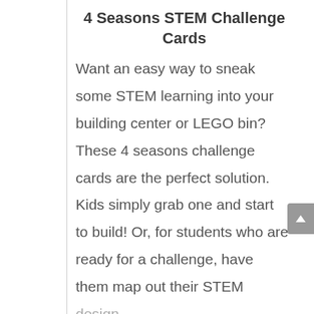4 Seasons STEM Challenge Cards
Want an easy way to sneak some STEM learning into your building center or LEGO bin? These 4 seasons challenge cards are the perfect solution. Kids simply grab one and start to build! Or, for students who are ready for a challenge, have them map out their STEM design...